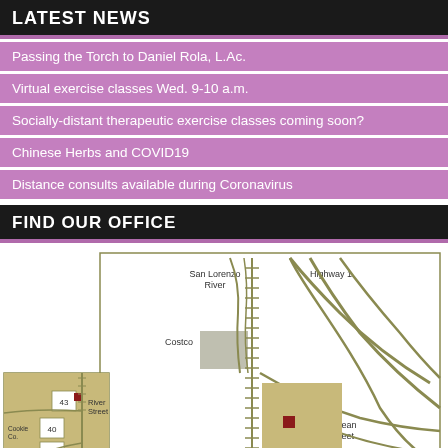LATEST NEWS
Passing the Torch to Daniel Rola, L.Ac.
Virtual exercise classes Wed. 9-10 a.m.
Socially-distant therapeutic exercise classes coming soon?
Chinese Herbs and COVID19
Distance consults available during Coronavirus
FIND OUR OFFICE
[Figure (map): Office location map showing San Lorenzo River, Highway 1, Ocean Street, Costco, River Street, and surrounding area with a red marker indicating office location. Inset map shows close-up of River Street area with building numbers 43, 40, 29 and Cookie Co.]